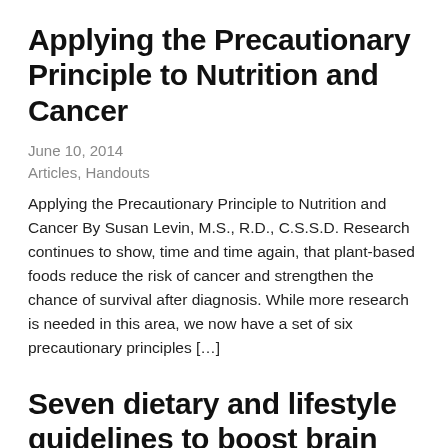Applying the Precautionary Principle to Nutrition and Cancer
June 10, 2014
Articles, Handouts
Applying the Precautionary Principle to Nutrition and Cancer By Susan Levin, M.S., R.D., C.S.S.D. Research continues to show, time and time again, that plant-based foods reduce the risk of cancer and strengthen the chance of survival after diagnosis. While more research is needed in this area, we now have a set of six precautionary principles […]
Seven dietary and lifestyle guidelines to boost brain health and reduce the risk of Alzheimer's